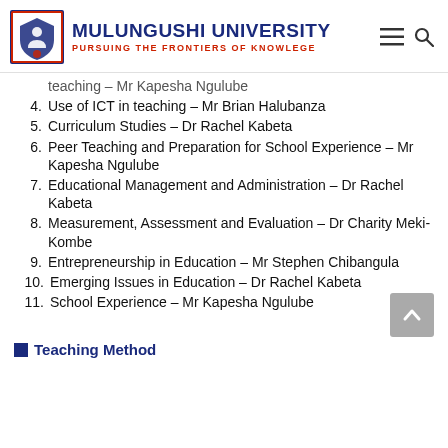MULUNGUNSHI UNIVERSITY — PURSUING THE FRONTIERS OF KNOWLEGE
teaching – Mr Kapesha Ngulube
4. Use of ICT in teaching – Mr Brian Halubanza
5. Curriculum Studies – Dr Rachel Kabeta
6. Peer Teaching and Preparation for School Experience – Mr Kapesha Ngulube
7. Educational Management and Administration – Dr Rachel Kabeta
8. Measurement, Assessment and Evaluation – Dr Charity Meki-Kombe
9. Entrepreneurship in Education – Mr Stephen Chibangula
10. Emerging Issues in Education – Dr Rachel Kabeta
11. School Experience – Mr Kapesha Ngulube
Teaching Methods